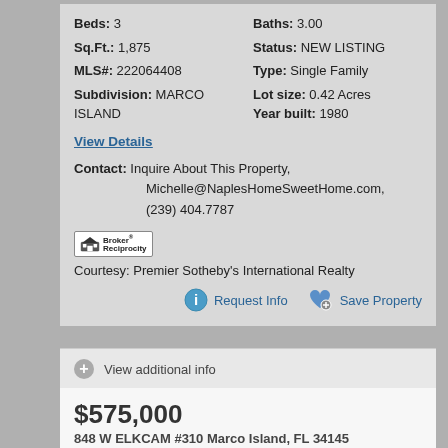Beds: 3  |  Baths: 3.00  |  Sq.Ft.: 1,875  |  Status: NEW LISTING  |  MLS#: 222064408  |  Type: Single Family  |  Subdivision: MARCO ISLAND  |  Lot size: 0.42 Acres  |  Year built: 1980
View Details
Contact: Inquire About This Property, Michelle@NaplesHomeSweetHome.com, (239) 404.7787
Courtesy: Premier Sotheby's International Realty
Request Info
Save Property
View additional info
$575,000
848 W ELKCAM #310 Marco Island, FL 34145